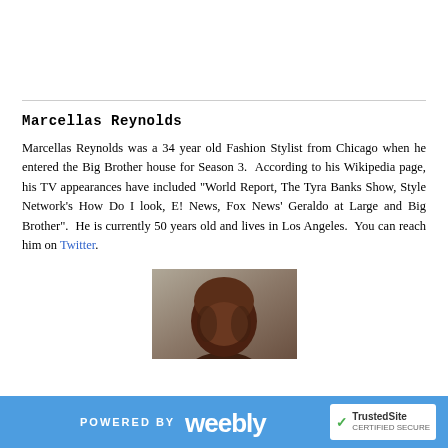Marcellas Reynolds
Marcellas Reynolds was a 34 year old Fashion Stylist from Chicago when he entered the Big Brother house for Season 3.  According to his Wikipedia page, his TV appearances have included "World Report, The Tyra Banks Show, Style Network's How Do I look, E! News, Fox News' Geraldo at Large and Big Brother".  He is currently 50 years old and lives in Los Angeles.  You can reach him on Twitter.
[Figure (photo): Portrait photo of Marcellas Reynolds, showing his head and upper shoulders against a gray-brown background]
POWERED BY weebly | TrustedSite